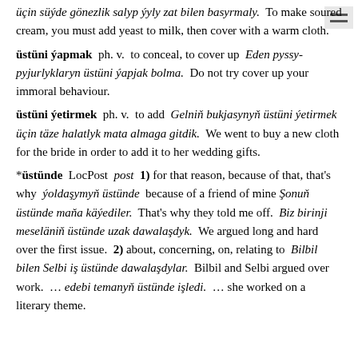üçin süýde gönezlik salyp ýyly zat bilen basyrmaly. To make soured cream, you must add yeast to milk, then cover with a warm cloth.
üstüni ýapmak ph. v. to conceal, to cover up Eden pyssy-pyjurlyklaryn üstüni ýapjak bolma. Do not try cover up your immoral behaviour.
üstüni ýetirmek ph. v. to add Gelniň bukjasynyň üstüni ýetirmek üçin täze halatlyk mata almaga gitdik. We went to buy a new cloth for the bride in order to add it to her wedding gifts.
*üstünde LocPost post 1) for that reason, because of that, that's why ýoldaşymyň üstünde because of a friend of mine Şonuň üstünde maňa käýediler. That's why they told me off. Biz birinji meselänin üstünde uzak dawalaşdyk. We argued long and hard over the first issue. 2) about, concerning, on, relating to Bilbil bilen Selbi iş üstünde dawalaşdylar. Bilbil and Selbi argued over work. … edebi temanyň üstünde işledi. … she worked on a literary theme.